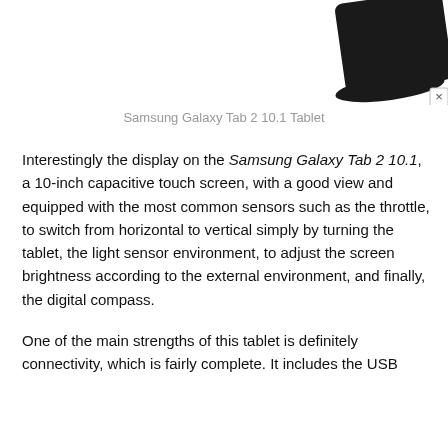[Figure (photo): Partial image of a Samsung Galaxy Tab 2 10.1 tablet, showing the top/corner of the device against a white background. A close/dismiss button (×) is visible at the right edge.]
Samsung Galaxy Tab 2 10.1 Tablet
Interestingly the display on the Samsung Galaxy Tab 2 10.1, a 10-inch capacitive touch screen, with a good view and equipped with the most common sensors such as the throttle, to switch from horizontal to vertical simply by turning the tablet, the light sensor environment, to adjust the screen brightness according to the external environment, and finally, the digital compass.
One of the main strengths of this tablet is definitely connectivity, which is fairly complete. It includes the USB